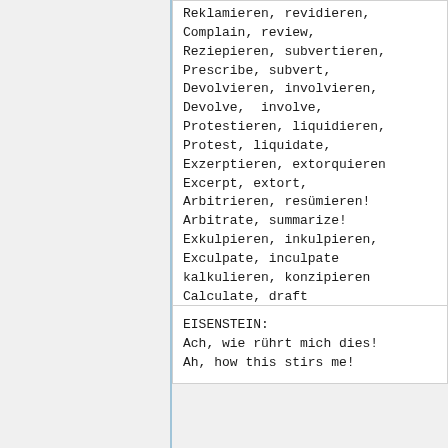Reklamieren, revidieren,
Complain, review,
Reziepieren, subvertieren,
Prescribe, subvert,
Devolvieren, involvieren,
Devolve, involve,
Protestieren, liquidieren,
Protest, liquidate,
Exzerptieren, extorquieren
Excerpt, extort,
Arbitrieren, resümieren!
Arbitrate, summarize!
Exkulpieren, inkulpieren,
Exculpate, inculpate
kalkulieren, konzipieren
Calculate, draft
Und Sie müssen triumphieren!
And you must triumph!
EISENSTEIN:
Ach, wie rührt mich dies!
Ah, how this stirs me!